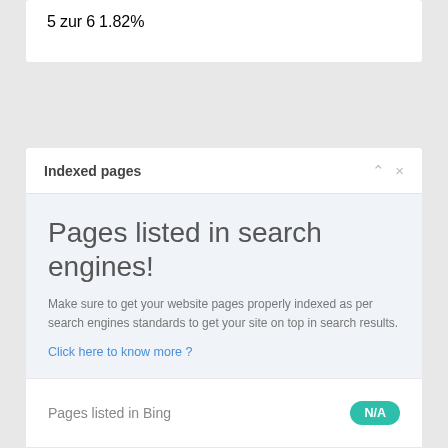| 5 | zur | 6 | 1.82% |
Indexed pages
Pages listed in search engines!
Make sure to get your website pages properly indexed as per search engines standards to get your site on top in search results.
Click here to know more ?
Pages listed in Bing
N/A
Pages listed in Google
N/A